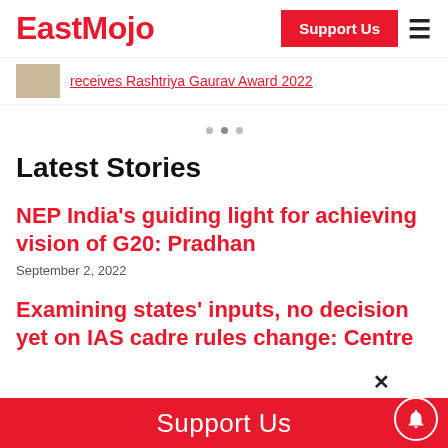EastMojo | Support Us
receives Rashtriya Gaurav Award 2022
Latest Stories
NEP India's guiding light for achieving vision of G20: Pradhan
September 2, 2022
Examining states' inputs, no decision yet on IAS cadre rules change: Centre
Support Us